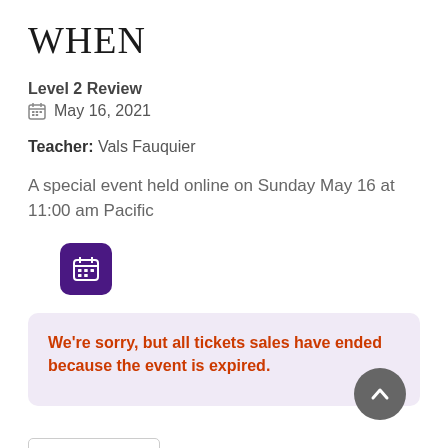When
Level 2 Review
May 16, 2021
Teacher: Vals Fauquier
A special event held online on Sunday May 16 at 11:00 am Pacific
[Figure (other): Purple calendar icon button]
We're sorry, but all tickets sales have ended because the event is expired.